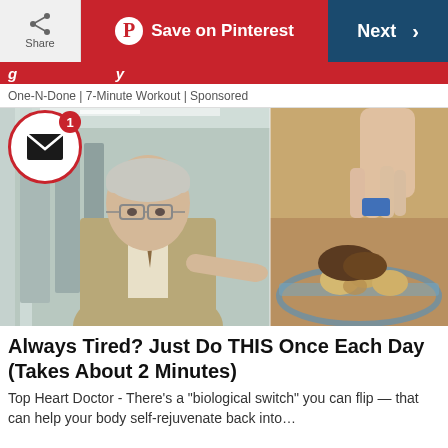Share | Save on Pinterest | Next >
One-N-Done | 7-Minute Workout | Sponsored
[Figure (photo): Composite photo: elderly doctor in suit pointing at something on the left half, and a close-up of a hand picking up a small object from sand/dirt on the right half. A mail envelope icon with red badge showing '1' overlays the top-left corner.]
Always Tired? Just Do THIS Once Each Day (Takes About 2 Minutes)
Top Heart Doctor - There’s a “biological switch” you can flip — that can help your body self-rejuvenate back into…